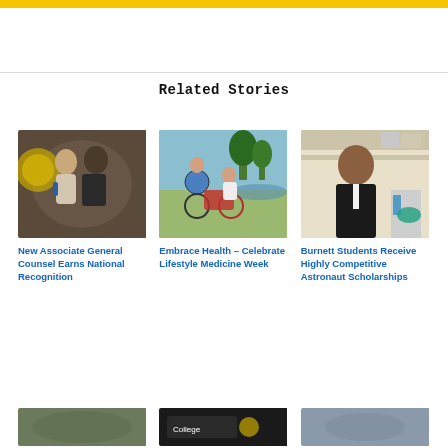Related Stories
[Figure (photo): Two women smiling and posing together in formal attire near a university seal]
New Associate General Counsel Earns National Recognition
[Figure (photo): Two people with bicycles outdoors near a lake]
Embrace Health – Celebrate Lifestyle Medicine Week
[Figure (photo): Young man in suit in a laboratory setting]
Burnett Students Receive Highly Competitive Astronaut Scholarships
[Figure (photo): Bottom row preview image 1]
[Figure (photo): Bottom row preview image 2 with college logo]
[Figure (photo): Bottom row preview image 3]